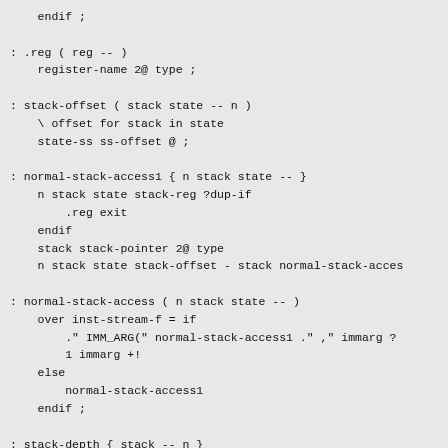endif ;

: .reg ( reg -- )
    register-name 2@ type ;

: stack-offset ( stack state -- n )
    \ offset for stack in state
    state-ss ss-offset @ ;

: normal-stack-access1 { n stack state -- }
    n stack state stack-reg ?dup-if
        .reg exit
    endif
    stack stack-pointer 2@ type
    n stack state stack-offset - stack normal-stack-acces

: normal-stack-access ( n stack state -- )
    over inst-stream-f = if
        ." IMM_ARG(" normal-stack-access1 ." ," immarg ?
        1 immarg +!
    else
        normal-stack-access1
    endif ;

: stack-depth { stack -- n }
    current-depth stack stack-number @ th @ ;

: part-stack-access { n stack -- }
    \ print _<stack><x>, x=inst-stream? n : maxdepth-curr
    ." " stack stack-pointer 2@ type